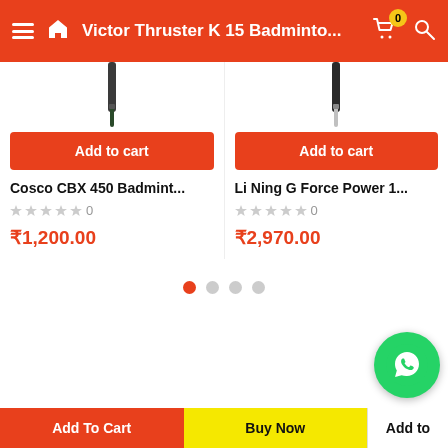Victor Thruster K 15 Badminto...
[Figure (screenshot): Partial view of a badminton racquet handle (Cosco CBX 450)]
[Figure (screenshot): Partial view of a badminton racquet handle (Li Ning G Force Power 1...)]
Add to cart
Add to cart
Cosco CBX 450 Badmint...
Li Ning G Force Power 1...
0
0
₹1,200.00
₹2,970.00
[Figure (infographic): Carousel pagination dots — 4 dots, first one active (orange)]
[Figure (logo): WhatsApp icon button (green circle with phone handset)]
Add To Cart | Buy Now | Add to